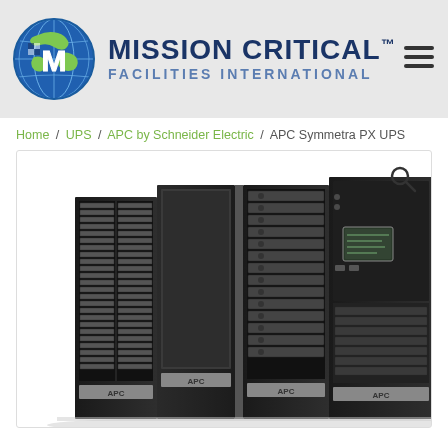[Figure (logo): Mission Critical Facilities International logo with globe icon and company name]
Home / UPS / APC by Schneider Electric / APC Symmetra PX UPS
[Figure (photo): APC Symmetra PX UPS large modular uninterruptible power supply units in black rack cabinets, multiple units side by side]